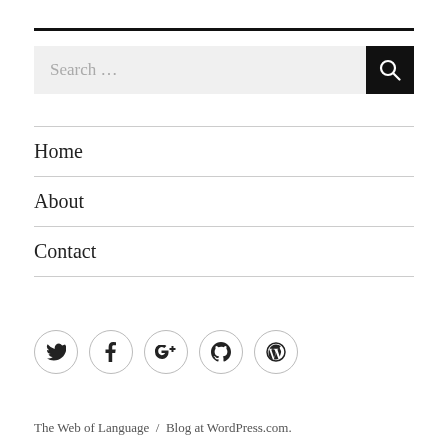[Figure (screenshot): Search bar with text input placeholder 'Search ...' and a black search button with magnifying glass icon]
Home
About
Contact
[Figure (infographic): Row of five circular social media icon buttons: Twitter, Facebook, Google+, GitHub, WordPress]
The Web of Language  /  Blog at WordPress.com.